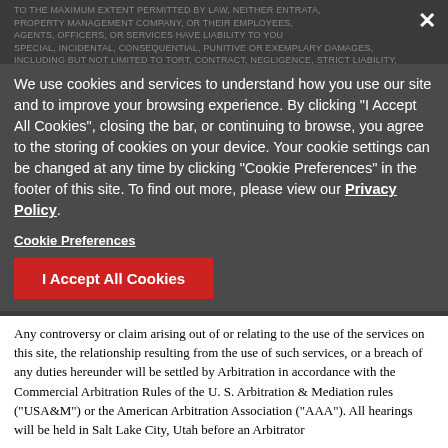TO THE MAXIMUM EXTENT PERMITTED BY LAW, NEITHER ENTRATA, PROPERTY MANAGEMENT COMPANY, OR THEIR EMPLOYEES, AGENTS, OFFICERS, OR SERVICES HAVE LIABILITY TO YOU USE our site and to improve your browsing experience... (cookie overlay obscures underlying legal text)
We use cookies and services to understand how you use our site and to improve your browsing experience. By clicking "I Accept All Cookies", closing the bar, or continuing to browse, you agree to the storing of cookies on your device. Your cookie settings can be changed at any time by clicking "Cookie Preferences" in the footer of this site. To find out more, please view our Privacy Policy.
Cookie Preferences
I Accept All Cookies
14. Dispute Resolution.
Any controversy or claim arising out of or relating to the use of the services on this site, the relationship resulting from the use of such services, or a breach of any duties hereunder will be settled by Arbitration in accordance with the Commercial Arbitration Rules of the U. S. Arbitration & Mediation rules ("USA&M") or the American Arbitration Association ("AAA"). All hearings will be held in Salt Lake City, Utah before an Arbitrator